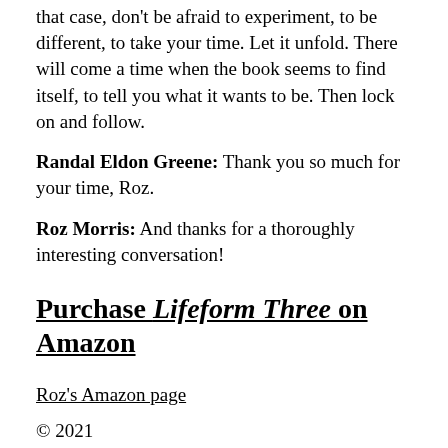that case, don't be afraid to experiment, to be different, to take your time. Let it unfold. There will come a time when the book seems to find itself, to tell you what it wants to be. Then lock on and follow.
Randal Eldon Greene: Thank you so much for your time, Roz.
Roz Morris: And thanks for a thoroughly interesting conversation!
Purchase Lifeform Three on Amazon
Roz's Amazon page
© 2021